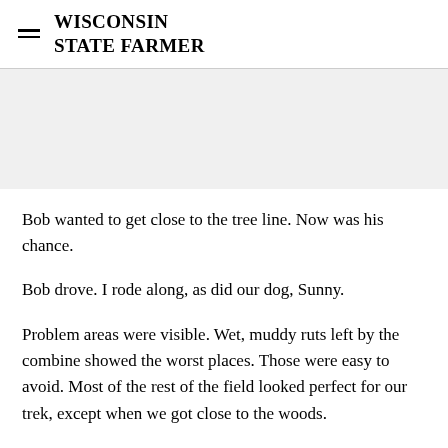WISCONSIN STATE FARMER
[Figure (other): Gray advertisement placeholder banner]
Bob wanted to get close to the tree line. Now was his chance.
Bob drove. I rode along, as did our dog, Sunny.
Problem areas were visible. Wet, muddy ruts left by the combine showed the worst places. Those were easy to avoid. Most of the rest of the field looked perfect for our trek, except when we got close to the woods.